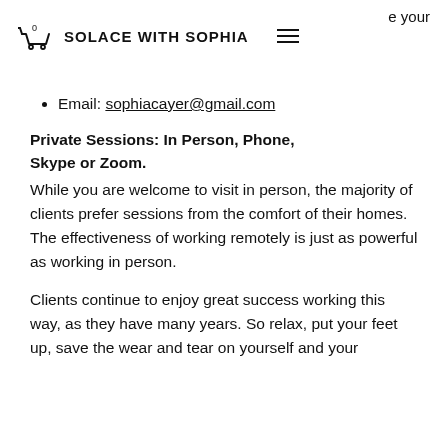e your  SOLACE WITH SOPHIA  [menu]
Email: sophiacayer@gmail.com
Private Sessions: In Person, Phone, Skype or Zoom.
While you are welcome to visit in person, the majority of clients prefer sessions from the comfort of their homes. The effectiveness of working remotely is just as powerful as working in person.
Clients continue to enjoy great success working this way, as they have many years. So relax, put your feet up, save the wear and tear on yourself and your